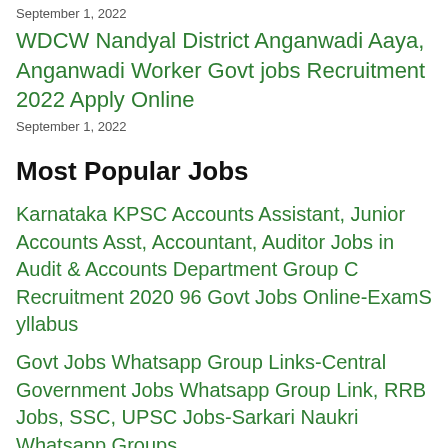September 1, 2022
WDCW Nandyal District Anganwadi Aaya, Anganwadi Worker Govt jobs Recruitment 2022 Apply Online
September 1, 2022
Most Popular Jobs
Karnataka KPSC Accounts Assistant, Junior Accounts Asst, Accountant, Auditor Jobs in Audit & Accounts Department Group C Recruitment 2020 96 Govt Jobs Online-ExamS yllabus
Govt Jobs Whatsapp Group Links-Central Government Jobs Whatsapp Group Link, RRB Jobs, SSC, UPSC Jobs-Sarkari Naukri Whatsapp Groups
Govt Jobs Telegram Group/Channel Links-Central Government Jobs, RRB Jobs, SSC, UPSC Jobs Telegram Groups/Channels